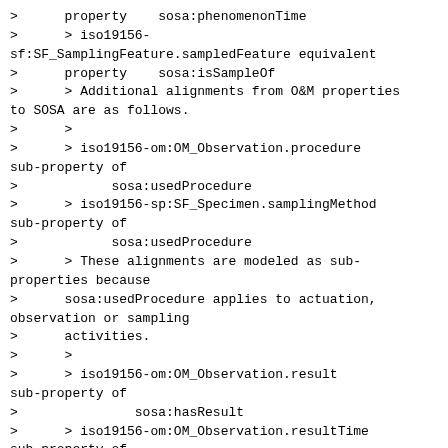>      property    sosa:phenomenonTime
>      > iso19156-sf:SF_SamplingFeature.sampledFeature equivalent
>      property    sosa:isSampleOf
>      > Additional alignments from O&M properties to SOSA are as follows.
>      >
>      > iso19156-om:OM_Observation.procedure sub-property of
>            sosa:usedProcedure
>      > iso19156-sp:SF_Specimen.samplingMethod sub-property of
>            sosa:usedProcedure
>      > These alignments are modeled as sub-properties because
>      sosa:usedProcedure applies to actuation, observation or sampling
>      activities.
>      >
>      > iso19156-om:OM_Observation.result sub-property of
>               sosa:hasResult
>      > iso19156-om:OM_Observation.resultTime sub-property of
>       sosa:resultTime
>      > iso19156-sp:SF_Specimen.samplingTime sub-property of
>            sosa:resultTime
>      > iso19156-sp:PreparationStep.time   sub-